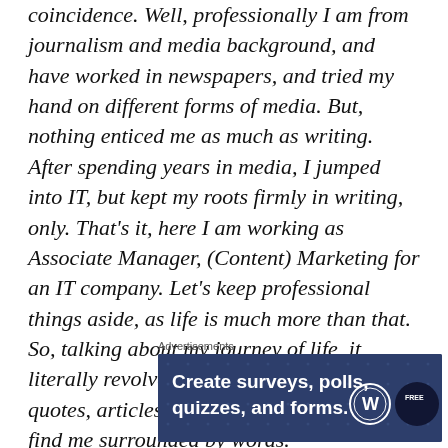coincidence. Well, professionally I am from journalism and media background, and have worked in newspapers, and tried my hand on different forms of media. But, nothing enticed me as much as writing. After spending years in media, I jumped into IT, but kept my roots firmly in writing, only. That's it, here I am working as Associate Manager, (Content) Marketing for an IT company. Let's keep professional things aside, as life is much more than that. So, talking about my journey of life, it literally revolves around writing, be it quotes, articles, or poems, you will always find me surrounded by words.
Advertisements
[Figure (other): Advertisement banner with dark blue background showing 'Create surveys, polls, quizzes, and forms.' with WordPress logo and a brand badge on the right]